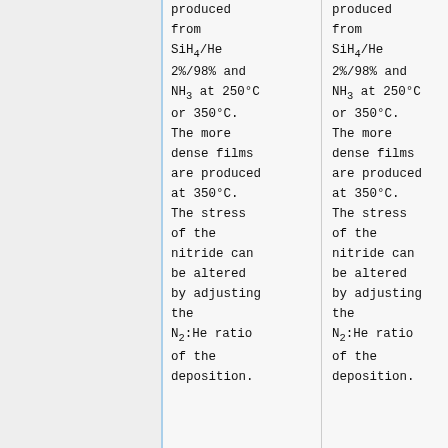produced from SiH4/He 2%/98% and NH3 at 250°C or 350°C. The more dense films are produced at 350°C. The stress of the nitride can be altered by adjusting the N2:He ratio of the deposition.
produced from SiH4/He 2%/98% and NH3 at 250°C or 350°C. The more dense films are produced at 350°C. The stress of the nitride can be altered by adjusting the N2:He ratio of the deposition.